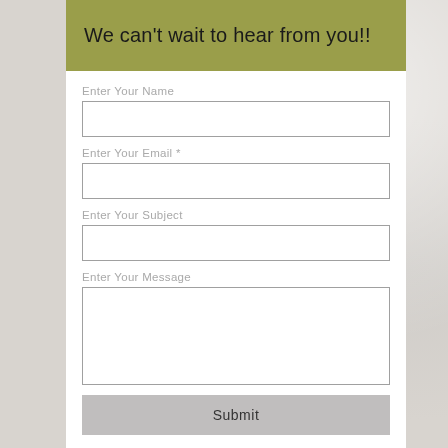We can't wait to hear from you!!
Enter Your Name
Enter Your Email *
Enter Your Subject
Enter Your Message
Submit